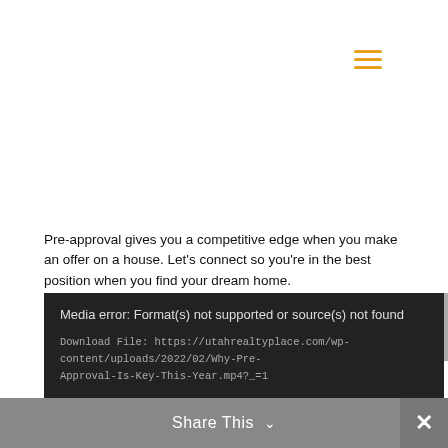[Figure (other): Hamburger menu icon with three orange horizontal lines in top-right corner]
Pre-approval gives you a competitive edge when you make an offer on a house. Let's connect so you're in the best position when you find your dream home.
[Figure (screenshot): Media error box with dark background showing: 'Media error: Format(s) not supported or source(s) not found' and 'Download File: https://utahrealtyplace.com/wp-content/uploads/2022/02/Why-Pre-Approval-Is-Key-This-Year.mp4?_=1']
Share This ∨